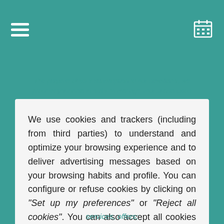[Teal header bar with hamburger menu and calendar icon]
The purpose of your subscription to our newsletter, we process your data in order to manage your subscription
We use cookies and trackers (including from third parties) to understand and optimize your browsing experience and to deliver advertising messages based on your browsing habits and profile. You can configure or refuse cookies by clicking on "Set up my preferences" or "Reject all cookies". You can also accept all cookies by clicking on the "Accept All Cookies" button. For more information, you can read our Privacy Policy.
services, offers;